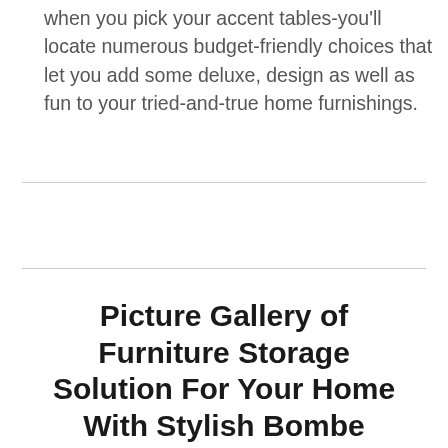when you pick your accent tables-you'll locate numerous budget-friendly choices that let you add some deluxe, design as well as fun to your tried-and-true home furnishings.
Picture Gallery of Furniture Storage Solution For Your Home With Stylish Bombe Chest Bombay Cabinet Clearance Chests Marble Top